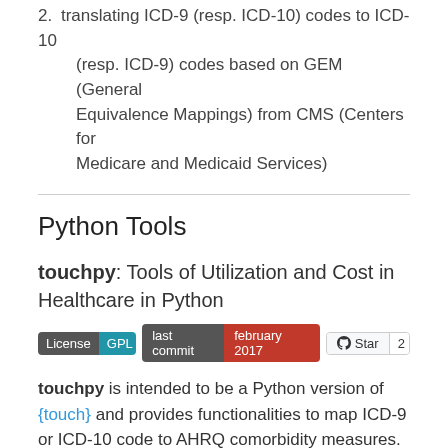2. translating ICD-9 (resp. ICD-10) codes to ICD-10 (resp. ICD-9) codes based on GEM (General Equivalence Mappings) from CMS (Centers for Medicare and Medicaid Services)
Python Tools
touchpy: Tools of Utilization and Cost in Healthcare in Python
[Figure (other): Badges: License GPL, last commit february 2017, GitHub Star 2]
touchpy is intended to be a Python version of {touch} and provides functionalities to map ICD-9 or ICD-10 code to AHRQ comorbidity measures.